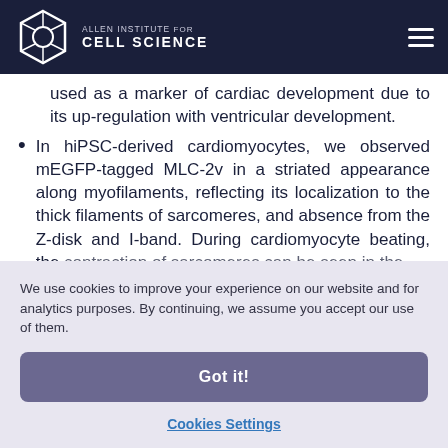Allen Institute for Cell Science
used as a marker of cardiac development due to its up-regulation with ventricular development.
In hiPSC-derived cardiomyocytes, we observed mEGFP-tagged MLC-2v in a striated appearance along myofilaments, reflecting its localization to the thick filaments of sarcomeres, and absence from the Z-disk and I-band. During cardiomyocyte beating, the contraction of sarcomeres can be seen in the
We use cookies to improve your experience on our website and for analytics purposes. By continuing, we assume you accept our use of them.
Got it!
Cookies Settings